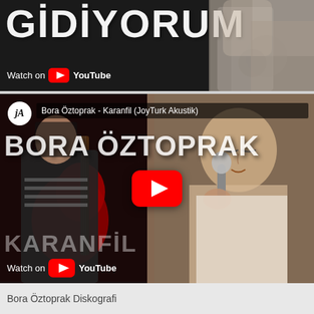[Figure (screenshot): YouTube video thumbnail for a Turkish song 'GIDIYORUM' - shows text GIDIYORUM in large white letters on dark background with arm/body in right portion, with Watch on YouTube overlay]
[Figure (screenshot): YouTube video thumbnail for Bora Öztoprak - Karanfil (JoyTurk Akustik) - shows JA logo, video title bar, BORA ÖZTOPRAK text, guitarist on left with red guitar, singer on right holding microphone, red YouTube play button in center, KARANFIL text at bottom, Watch on YouTube overlay]
Bora Öztoprak Diskografi